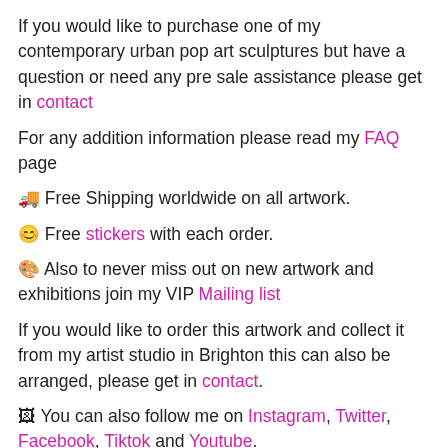If you would like to purchase one of my contemporary urban pop art sculptures but have a question or need any pre sale assistance please get in contact
For any addition information please read my FAQ page
🚚 Free Shipping worldwide on all artwork.
😊 Free stickers with each order.
🎨 Also to never miss out on new artwork and exhibitions join my VIP Mailing list
If you would like to order this artwork and collect it from my artist studio in Brighton this can also be arranged, please get in contact.
🖼 You can also follow me on Instagram, Twitter, Facebook, Tiktok and Youtube.